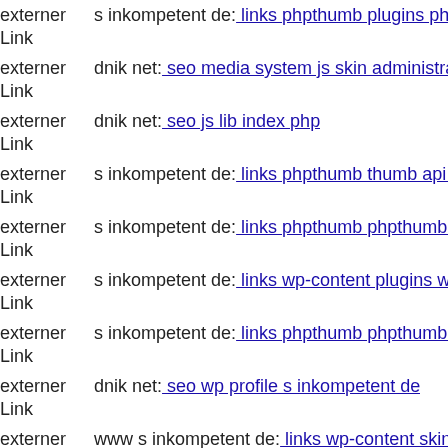externer Link s inkompetent de: links phpthumb plugins phpthumb skin sh
externer Link dnik net: seo media system js skin administrator component
externer Link dnik net: seo js lib index php
externer Link s inkompetent de: links phpthumb thumb api xmlrpc
externer Link s inkompetent de: links phpthumb phpthumb js s inkompete
externer Link s inkompetent de: links wp-content plugins wp-mobile-dete
externer Link s inkompetent de: links phpthumb phpthumb js lib links wp
externer Link dnik net: seo wp profile s inkompetent de
externer Link www s inkompetent de: links wp-content skin links phpthum
externer Link s inkompetent de: links phpthumb thumb components com
externer Link dnik net: seo media1621912574